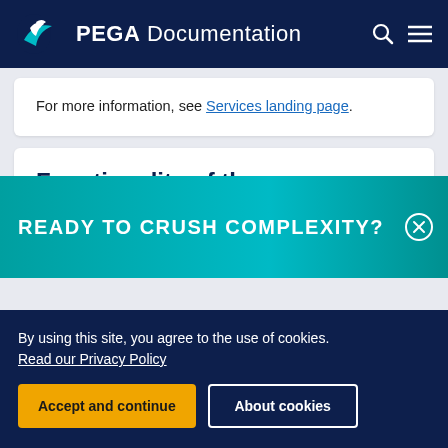PEGA Documentation
For more information, see Services landing page.
Functionality of the pyInvokeRESTConnector rule and the pxDeferenceEndpoint
READY TO CRUSH COMPLEXITY?
By using this site, you agree to the use of cookies. Read our Privacy Policy
Accept and continue   About cookies